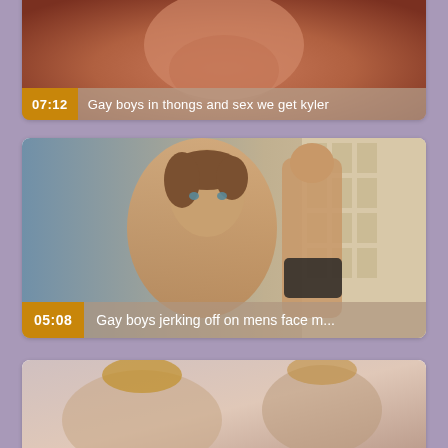[Figure (screenshot): Video thumbnail card partially visible at top. Duration label '07:12' and title 'Gay boys in thongs and sex we get kyler']
[Figure (screenshot): Video thumbnail card showing two men. Duration label '05:08' and title 'Gay boys jerking off on mens face m...']
[Figure (screenshot): Video thumbnail card partially visible at bottom.]